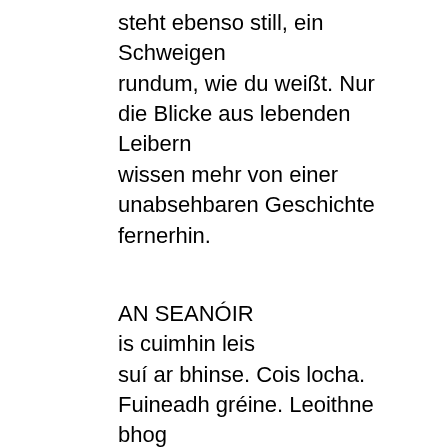steht ebenso still, ein Schweigen rundum, wie du weißt. Nur die Blicke aus lebenden Leibern wissen mehr von einer unabsehbaren Geschichte fernerhin.
AN SEANÓIR
is cuimhin leis
suí ar bhinse. Cois locha.
Fuineadh gréine. Leoithne bhog
istoíche. Shleamhnaigh
mo phrionsa tráth na huiscí seo anonn,
an rí scanrúil,
taoiseach cogaidh, mallaithe,
uaigneach. Cad d'imigh
ar mo chúnna? Mo bhoiscíní
snaoise is an mhaoin gheal eile? Cad
d'imigh ar an bPrúis?
Ar an tSiléis? Ar Photsdam?
Tá í a n...